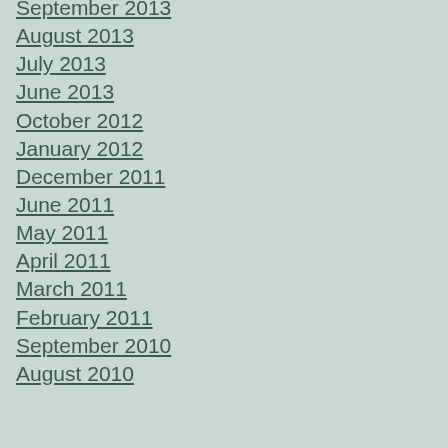September 2013
August 2013
July 2013
June 2013
October 2012
January 2012
December 2011
June 2011
May 2011
April 2011
March 2011
February 2011
September 2010
August 2010